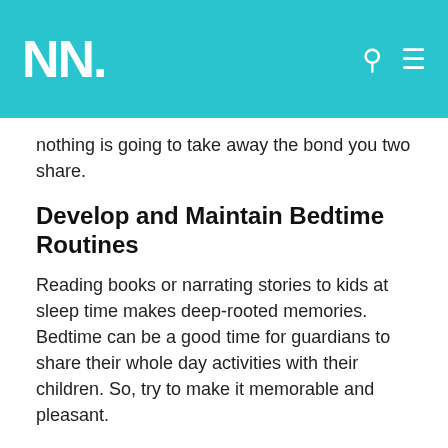NN.
nothing is going to take away the bond you two share.
Develop and Maintain Bedtime Routines
Reading books or narrating stories to kids at sleep time makes deep-rooted memories. Bedtime can be a good time for guardians to share their whole day activities with their children. So, try to make it memorable and pleasant.
Let Your Children Help You
Sometimes parents do not allow their children to assist them with different tasks and chores as parents are afraid that they won't be able to do it.
But you should realize that children feel amazing when